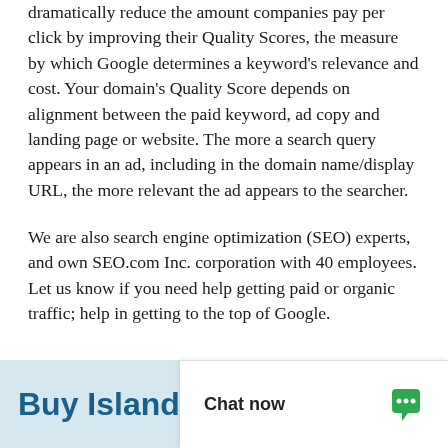dramatically reduce the amount companies pay per click by improving their Quality Scores, the measure by which Google determines a keyword's relevance and cost. Your domain's Quality Score depends on alignment between the paid keyword, ad copy and landing page or website. The more a search query appears in an ad, including in the domain name/display URL, the more relevant the ad appears to the searcher.
We are also search engine optimization (SEO) experts, and own SEO.com Inc. corporation with 40 employees. Let us know if you need help getting paid or organic traffic; help in getting to the top of Google.
Buy IslandP
Chat now